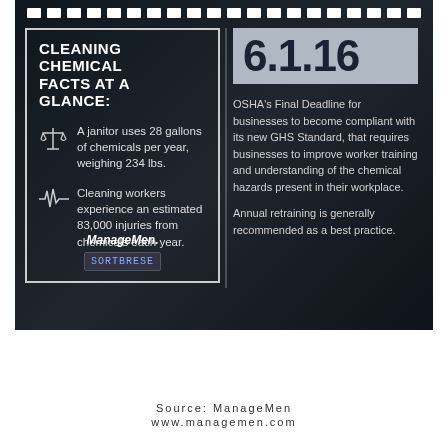[Figure (infographic): Dark industrial warehouse background infographic about cleaning chemical facts, with filmstrip border at top, left panel titled 'CLEANING CHEMICAL FACTS AT A GLANCE:' with two facts about janitor chemical usage (28 gallons/year, 234 lbs) and 83,000 injuries, and right panel showing date 6.1.16 (OSHA Final Deadline) with explanatory text about GHS Standard compliance and annual retraining recommendation. ManageMen logo at bottom of left panel.]
Source: ManageMen
www.managemen.com